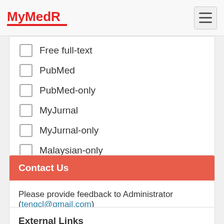MyMedR
Free full-text
PubMed
PubMed-only
MyJurnal
MyJurnal-only
Malaysian-only
Filter
Contact Us
Please provide feedback to Administrator (tengcl@gmail.com)
External Links